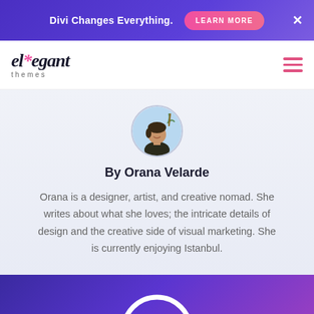Divi Changes Everything.  LEARN MORE  ×
[Figure (logo): Elegant Themes logo with asterisk star in pink and italic serif text]
By Orana Velarde
Orana is a designer, artist, and creative nomad. She writes about what she loves; the intricate details of design and the creative side of visual marketing. She is currently enjoying Istanbul.
[Figure (logo): Divi logo white circular D icon on purple-to-magenta gradient background]